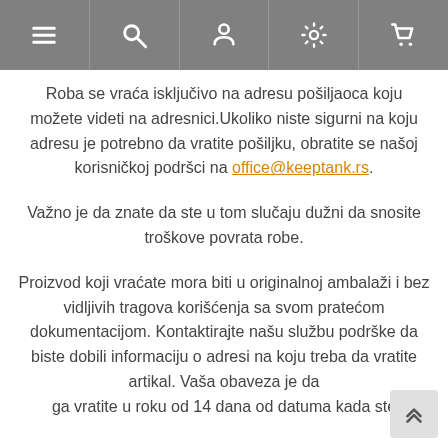[navbar with menu, search, user, settings, cart icons]
Roba se vraća isključivo na adresu pošiljaoca koju možete videti na adresnici.Ukoliko niste sigurni na koju adresu je potrebno da vratite pošiljku, obratite se našoj korisničkoj podršci na office@keeptank.rs.
Važno je da znate da ste u tom slučaju dužni da snosite troškove povrata robe.
Proizvod koji vraćate mora biti u originalnoj ambalaži i bez vidljivih tragova korišćenja sa svom pratećom dokumentacijom. Kontaktirajte našu službu podrške da biste dobili informaciju o adresi na koju treba da vratite artikal. Vaša obaveza je da ga vratite u roku od 14 dana od datuma kada ste